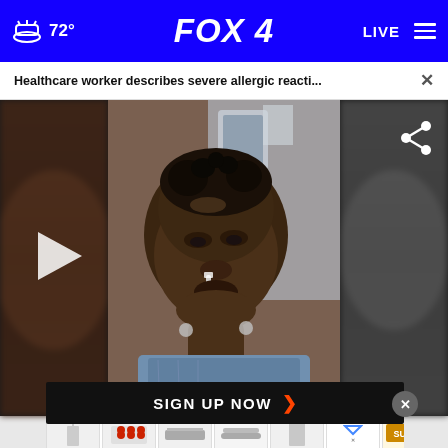72° FOX 4 LIVE
Healthcare worker describes severe allergic reacti... ×
[Figure (photo): A person lying in a hospital bed with medical tubes, shown in a close-up video frame with blurred dark panels on both sides and a play button overlay on the left]
SIGN UP NOW ›
[Figure (infographic): Advertisement strip with product thumbnail images at the bottom of the screen]